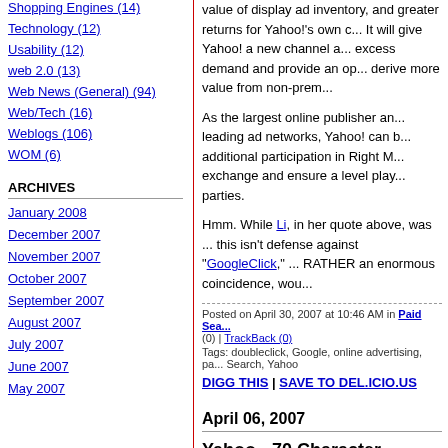Shopping Engines (14)
Technology (12)
Usability (12)
web 2.0 (13)
Web News (General) (94)
Web/Tech (16)
Weblogs (106)
WOM (6)
ARCHIVES
January 2008
December 2007
November 2007
October 2007
September 2007
August 2007
July 2007
June 2007
May 2007
value of display ad inventory, and greater returns for Yahoo!'s own c... It will give Yahoo! a new channel a... excess demand and provide an op... derive more value from non-prem...
As the largest online publisher an... leading ad networks, Yahoo! can b... additional participation in Right M... exchange and ensure a level play... parties.
Hmm. While Li, in her quote above, was ... this isn't defense against "GoogleClick," ... RATHER an enormous coincidence, wou...
Posted on April 30, 2007 at 10:46 AM in Paid Sea... (0) | TrackBack (0)
Tags: doubleclick, Google, online advertising, pa... Search, Yahoo
DIGG THIS | SAVE TO DEL.ICIO.US
April 06, 2007
Yahoo - 70 Character Limit...